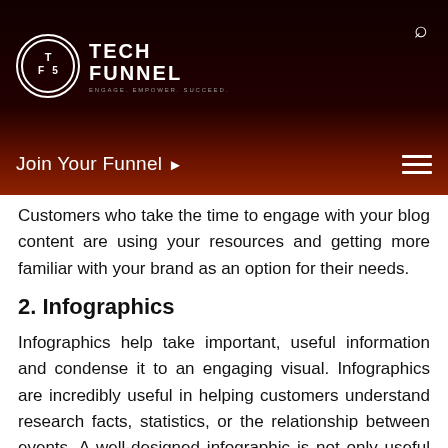[Figure (logo): TechFunnel logo with circular TF emblem and text TECH FUNNEL, tagline: ENGAGE. EMPOWER. SUCCEED.]
Join Your Funnel ▶
Customers who take the time to engage with your blog content are using your resources and getting more familiar with your brand as an option for their needs.
2. Infographics
Infographics help take important, useful information and condense it to an engaging visual. Infographics are incredibly useful in helping customers understand research facts, statistics, or the relationship between events. A well-designed infographic is not only useful for customers but engaging and readily shared for